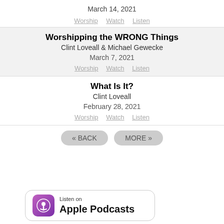March 14, 2021
Worship   Watch   Listen
Worshipping the WRONG Things
Clint Loveall & Michael Gewecke
March 7, 2021
Worship   Watch   Listen
What Is It?
Clint Loveall
February 28, 2021
Worship   Watch   Listen
« BACK   MORE »
[Figure (logo): Listen on Apple Podcasts badge with purple podcast icon]